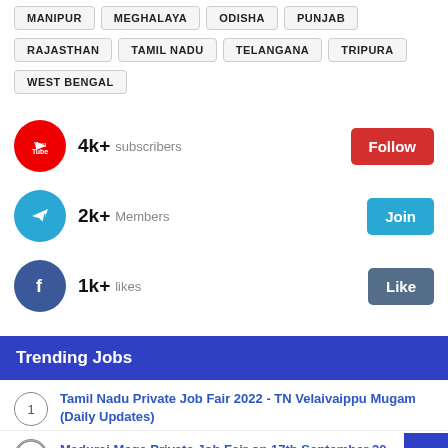MANIPUR
MEGHALAYA
ODISHA
PUNJAB
RAJASTHAN
TAMIL NADU
TELANGANA
TRIPURA
WEST BENGAL
[Figure (infographic): YouTube social media widget showing 4k+ subscribers with Follow button]
[Figure (infographic): Telegram social media widget showing 2k+ Members with Join button]
[Figure (infographic): Facebook social media widget showing 1k+ likes with Like button]
Trending Jobs
Tamil Nadu Private Job Fair 2022 - TN Velaivaippu Mugam (Daily Updates)
Madurai Mega Private Job Fair on 17th September 20...